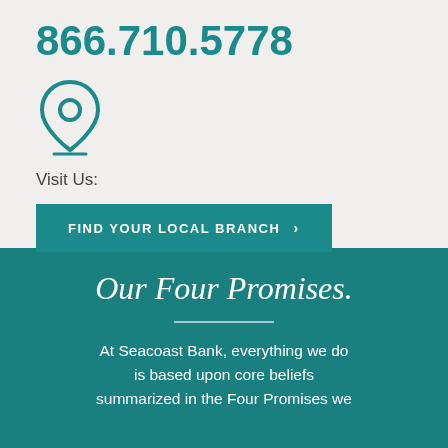866.710.5778
[Figure (illustration): Teal location pin / map marker icon]
Visit Us:
FIND YOUR LOCAL BRANCH >
Our Four Promises.
At Seacoast Bank, everything we do is based upon core beliefs summarized in the Four Promises we